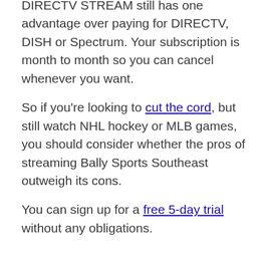DIRECTV STREAM still has one advantage over paying for DIRECTV, DISH or Spectrum. Your subscription is month to month so you can cancel whenever you want.
So if you're looking to cut the cord, but still watch NHL hockey or MLB games, you should consider whether the pros of streaming Bally Sports Southeast outweigh its cons.
You can sign up for a free 5-day trial without any obligations.